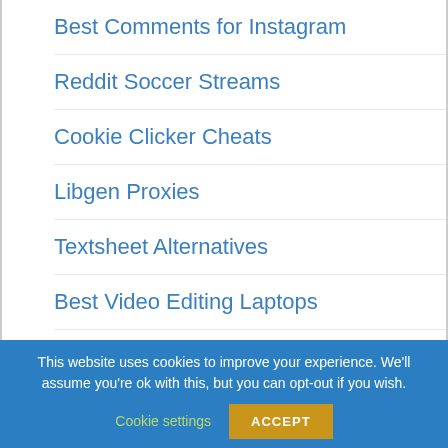Best Comments for Instagram
Reddit Soccer Streams
Cookie Clicker Cheats
Libgen Proxies
Textsheet Alternatives
Best Video Editing Laptops
Best Laptops For Nursing Students
This website uses cookies to improve your experience. We'll assume you're ok with this, but you can opt-out if you wish.
Cookie settings
ACCEPT